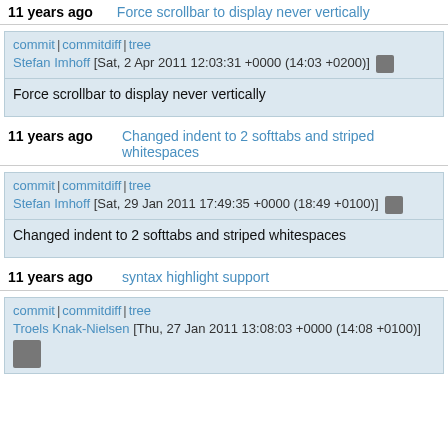11 years ago   Force scrollbar to display never vertically
commit | commitdiff | tree
Stefan Imhoff [Sat, 2 Apr 2011 12:03:31 +0000 (14:03 +0200)]
Force scrollbar to display never vertically
11 years ago   Changed indent to 2 softtabs and striped whitespaces
commit | commitdiff | tree
Stefan Imhoff [Sat, 29 Jan 2011 17:49:35 +0000 (18:49 +0100)]
Changed indent to 2 softtabs and striped whitespaces
11 years ago   syntax highlight support
commit | commitdiff | tree
Troels Knak-Nielsen [Thu, 27 Jan 2011 13:08:03 +0000 (14:08 +0100)]